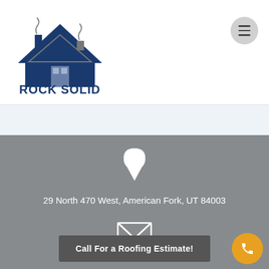[Figure (logo): Rock Solid Roofing logo with house/roof icon and company name]
[Figure (other): Hamburger menu button (three horizontal lines in a circle)]
29 North 470 West, American Fork, UT 84003
Elliot@... (partial email address)
Call For a Roofing Estimate!